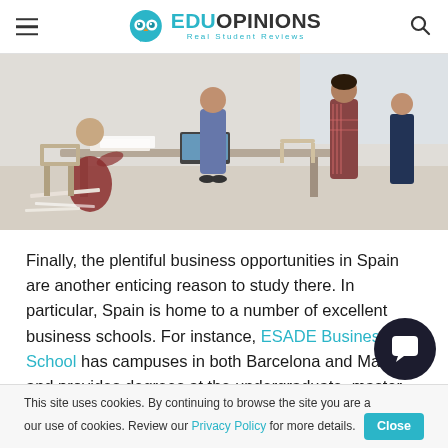EduOpinions — Real Student Reviews
[Figure (photo): Students in a classroom or workshop setting, seen from overhead/mid angle; people standing and sitting around tables with papers and laptops.]
Finally, the plentiful business opportunities in Spain are another enticing reason to study there. In particular, Spain is home to a number of excellent business schools. For instance, ESADE Business School has campuses in both Barcelona and Madrid and provides degrees at the undergraduate, master, MBA and executive levels, in addition to research programmes and summer school. The school is known for its innovative spirit and unique approaches to teaching, meaning your education…
This site uses cookies. By continuing to browse the site you are agreeing to our use of cookies. Review our Privacy Policy for more details.  Close